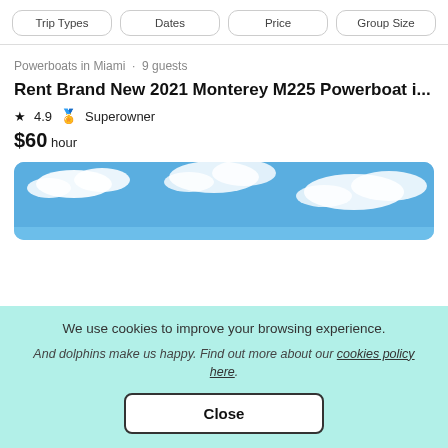Trip Types | Dates | Price | Group Size
Powerboats in Miami · 9 guests
Rent Brand New 2021 Monterey M225 Powerboat i...
★ 4.9 🏅 Superowner
$60 hour
[Figure (photo): Blue sky with white clouds, top portion of a boat listing photo]
We use cookies to improve your browsing experience. And dolphins make us happy. Find out more about our cookies policy here.
Close